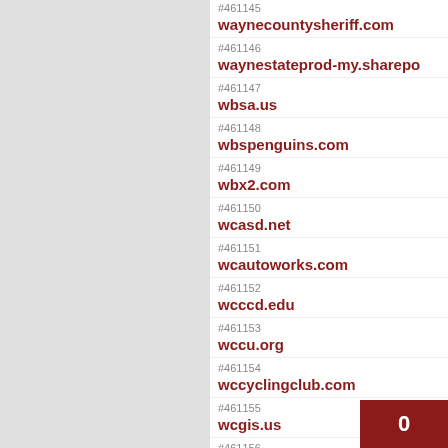#461145 waynecountysheriff.com
#461146 waynestateprod-my.sharepo
#461147 wbsa.us
#461148 wbspenguins.com
#461149 wbx2.com
#461150 wcasd.net
#461151 wcautoworks.com
#461152 wcccd.edu
#461153 wccu.org
#461154 wccyclingclub.com
#461155 wcgis.us
#461156 wcid1tx.org
#461157 wcoconcerts.org